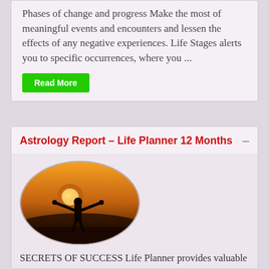Phases of change and progress Make the most of meaningful events and encounters and lessen the effects of any negative experiences. Life Stages alerts you to specific occurrences, where you ...
Read More
Astrology Report – Life Planner 12 Months
[Figure (photo): Oval-framed photo of a person silhouetted against a sunset with arms outstretched, standing on a hilltop]
SECRETS OF SUCCESS Life Planner provides valuable guidance, about your love-life, money work. Most importantly, when you will experie life changing events, and how you can benefit from the...